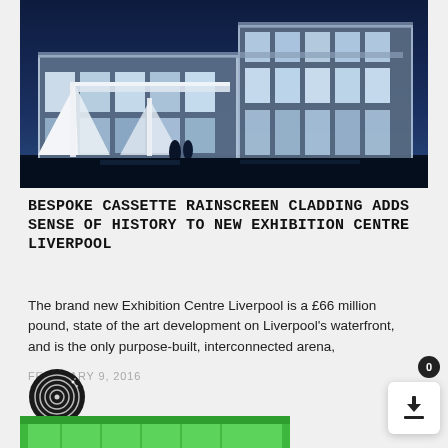[Figure (photo): Nighttime photo of Exhibition Centre Liverpool, a modern glass and steel building with large glazed facades illuminated from within, white structural elements, shot at dusk/night with blue sky background.]
BESPOKE CASSETTE RAINSCREEN CLADDING ADDS SENSE OF HISTORY TO NEW EXHIBITION CENTRE LIVERPOOL
The brand new Exhibition Centre Liverpool is a £66 million pound, state of the art development on Liverpool's waterfront, and is the only purpose-built, interconnected arena,
FEBRUARY 9, 2016
[Figure (photo): Partial view of green-framed window/door structure at bottom of page.]